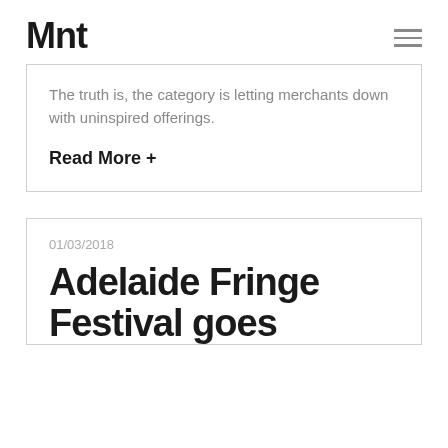Mnt
The truth is, the category is letting merchants down with uninspired offerings.
Read More +
01/03/2018
Adelaide Fringe Festival goes